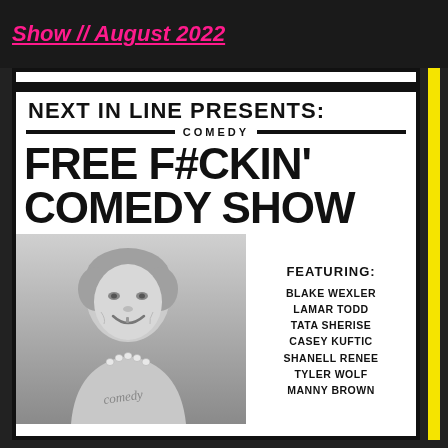Show // August 2022
[Figure (illustration): Comedy show flyer for 'Next In Line Presents: Comedy – Free F#ckin' Comedy Show' featuring a black-and-white photo of a smiling elderly woman wearing a pearl necklace and a shirt that says 'comedy'. Featuring: Blake Wexler, Lamar Todd, Tata Sherise, Casey Kuftic, Shanell Renee, Tyler Wolf, Manny Brown.]